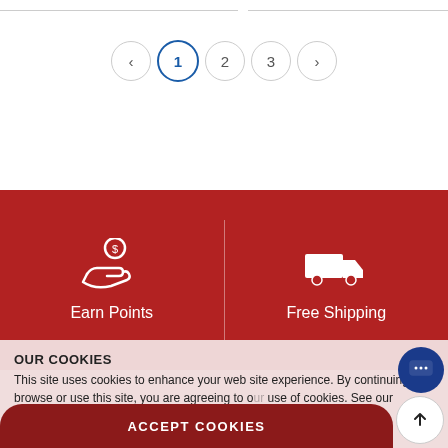[Figure (other): Pagination controls showing page 1 (active/highlighted in blue), page 2, page 3, with left and right navigation arrows]
[Figure (infographic): Red banner with two sections: left shows 'Earn Points' icon (hand with coin), right shows 'Free Shipping' icon (delivery truck), separated by a vertical divider]
OUR COOKIES
This site uses cookies to enhance your web site experience. By continuing to browse or use this site, you are agreeing to our use of cookies. See our privacy policy here.
ACCEPT COOKIES